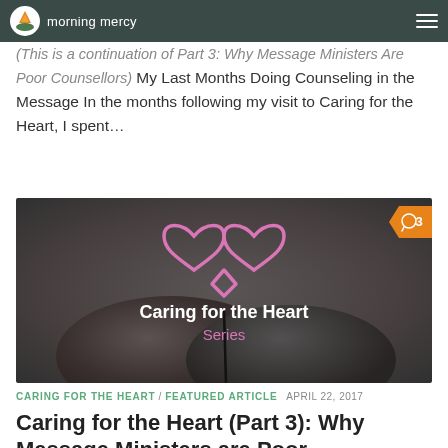morning mercy
(This is a continuation of Part 3: Why Message Ministers Are Poor Counsellors) My Last Months Doing Counseling in the Message In the months following my visit to Caring for the Heart, I spent...
[Figure (illustration): Caring for the Heart Series promotional image showing two dark heart-shaped stones with a pink infinity-heart logo symbol above text reading 'Caring for the Heart Series' on a dark background. Orange comment badge with number 3 in top right corner.]
CARING FOR THE HEART / FEATURED ARTICLE  APRIL 22, 2017
Caring for the Heart (Part 3): Why Message Ministers are Poor